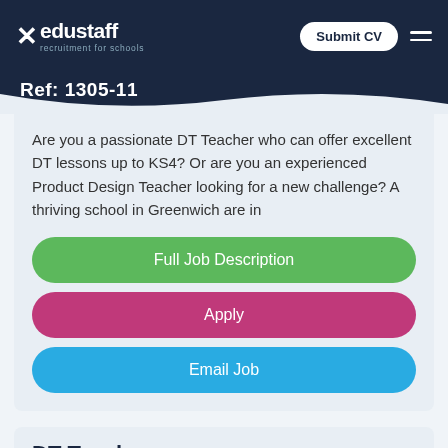edustaff recruitment for schools
Ref: 1305-11
Are you a passionate DT Teacher who can offer excellent DT lessons up to KS4? Or are you an experienced Product Design Teacher looking for a new challenge? A thriving school in Greenwich are in
Full Job Description
Apply
Email Job
DT Te...